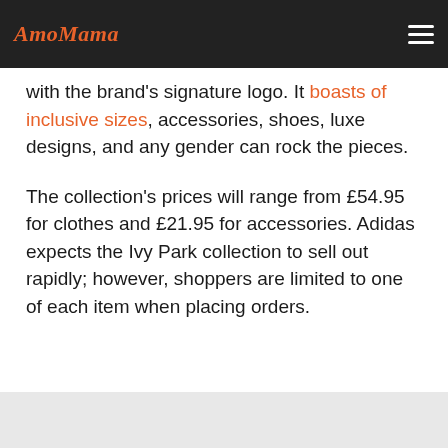AmoMama
with the brand's signature logo. It boasts of inclusive sizes, accessories, shoes, luxe designs, and any gender can rock the pieces.
The collection's prices will range from £54.95 for clothes and £21.95 for accessories. Adidas expects the Ivy Park collection to sell out rapidly; however, shoppers are limited to one of each item when placing orders.